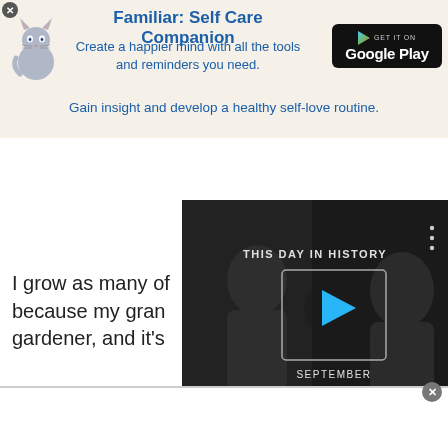[Figure (infographic): Familiar: Self Care Companion app advertisement banner with cat illustration and Google Play button. Title: 'Familiar: Self Care Companion'. Subtitle: 'Create a happier mind with all the tools and reminders you need.' Tagline: 'Gain insight and develop a healthy self-love routine.']
[Figure (screenshot): Video player overlay showing 'THIS DAY IN HISTORY' with a play button and 'SEPTEMBER' label. Two people visible in black and white background. Video controls visible at bottom including mute button, progress bar, and fullscreen button.]
I grow as many of because my gran gardener, and it's
[Figure (other): White bottom panel with close button (X)]